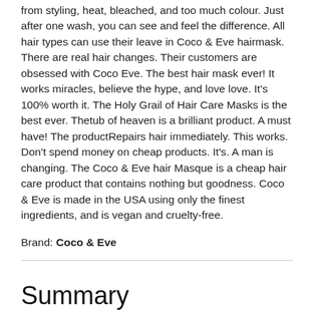from styling, heat, bleached, and too much colour. Just after one wash, you can see and feel the difference. All hair types can use their leave in Coco & Eve hairmask. There are real hair changes. Their customers are obsessed with Coco Eve. The best hair mask ever! It works miracles, believe the hype, and love love. It's 100% worth it. The Holy Grail of Hair Care Masks is the best ever. Thetub of heaven is a brilliant product. A must have! The productRepairs hair immediately. This works. Don't spend money on cheap products. It's. A man is changing. The Coco & Eve hair Masque is a cheap hair care product that contains nothing but goodness. Coco & Eve is made in the USA using only the finest ingredients, and is vegan and cruelty-free.
Brand: Coco & Eve
Summary
What is the best product for hair repair mask treatment for damaged hair?